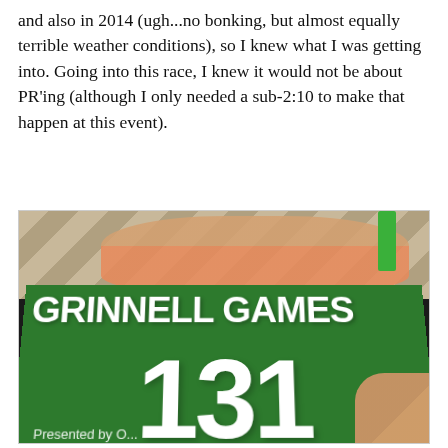and also in 2014 (ugh...no bonking, but almost equally terrible weather conditions), so I knew what I was getting into. Going into this race, I knew it would not be about PR'ing (although I only needed a sub-2:10 to make that happen at this event).
[Figure (photo): A race bib for the Grinnell Games, number 131, presented by an organization (text partially cut off). The green bib is being held by a hand with pink nail polish. Feet in flip flops are visible in the background on a tiled floor.]